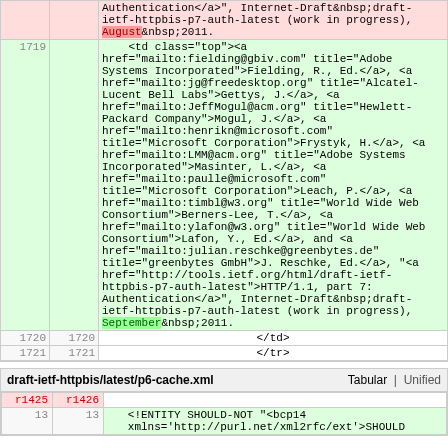| old | new | code |
| --- | --- | --- |
|  |  | Authentication</a>", Internet-Draft&nbsp;draft-ietf-httpbis-p7-auth-latest (work in progress), August&nbsp;2011. |
| 1719 |  | <td class="top"><a href="mailto:fielding@gbiv.com" title="Adobe Systems Incorporated">Fielding, R., Ed.</a>, <a href="mailto:jg@freedesktop.org" title="Alcatel-Lucent Bell Labs">Gettys, J.</a>, <a href="mailto:JeffMogul@acm.org" title="Hewlett-Packard Company">Mogul, J.</a>, <a href="mailto:henrikn@microsoft.com" title="Microsoft Corporation">Frystyk, H.</a>, <a href="mailto:LMM@acm.org" title="Adobe Systems Incorporated">Masinter, L.</a>, <a href="mailto:paulle@microsoft.com" title="Microsoft Corporation">Leach, P.</a>, <a href="mailto:timbl@w3.org" title="World Wide Web Consortium">Berners-Lee, T.</a>, <a href="mailto:ylafon@w3.org" title="World Wide Web Consortium">Lafon, Y., Ed.</a>, and <a href="mailto:julian.reschke@greenbytes.de" title="greenbytes GmbH">J. Reschke, Ed.</a>, "<a href="http://tools.ietf.org/html/draft-ietf-httpbis-p7-auth-latest">HTTP/1.1, part 7: Authentication</a>", Internet-Draft&nbsp;draft-ietf-httpbis-p7-auth-latest (work in progress), September&nbsp;2011. |
| 1720 | 1720 | </td> |
| 1721 | 1721 | </tr> |
| filename | tabs |
| --- | --- |
| draft-ietf-httpbis/latest/p6-cache.xml | Tabular | Unified |
| old | new | code |
| --- | --- | --- |
| r1425 | r1426 |  |
| 13 | 13 | <!ENTITY SHOULD-NOT "<bcp14 xmlns='http://purl.net/xml2rfc/ext'>SHOULD |